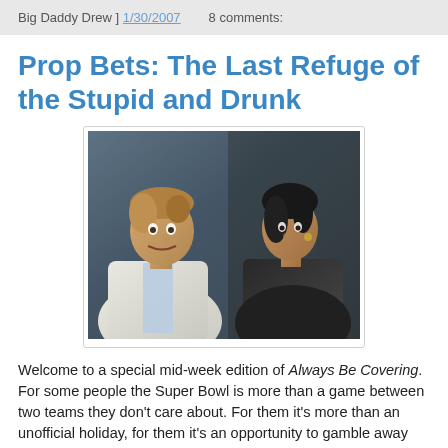Big Daddy Drew ] 1/30/2007   8 comments:
Prop Bets: The Last Refuge of the Stupid and Drunk
[Figure (photo): Two people facing each other closely, appearing to be in a confrontational or intense conversation. Man in white jacket on left, woman in dark outfit on right.]
Welcome to a special mid-week edition of Always Be Covering. For some people the Super Bowl is more than a game between two teams they don't care about. For them it's more than an unofficial holiday, for them it's an opportunity to gamble away their great-grandmother's collection of 19th